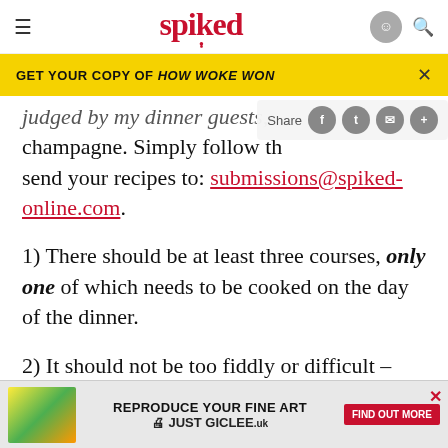spiked
GET YOUR COPY OF HOW WOKE WON
judged by my dinner guests, champagne. Simply follow th send your recipes to: submissions@spiked-online.com.
1) There should be at least three courses, only one of which needs to be cooked on the day of the dinner.
2) It should not be too fiddly or difficult – nothing that requires balls, stones, or your